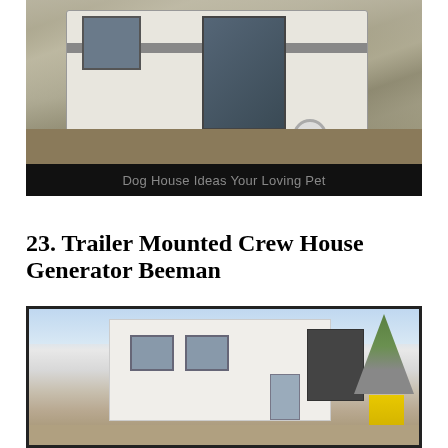[Figure (photo): A white trailer/camper with open doors and windows, parked outdoors on dry grassy ground. The trailer has a grey stripe, visible interior, and a wheel visible at the bottom.]
Dog House Ideas Your Loving Pet
23. Trailer Mounted Crew House Generator Beeman
[Figure (photo): A white portable crew house/modular building mounted on a trailer or platform, with windows and a door visible. A large generator unit and yellow metal stairs are visible to the right. Trees and sky in background.]